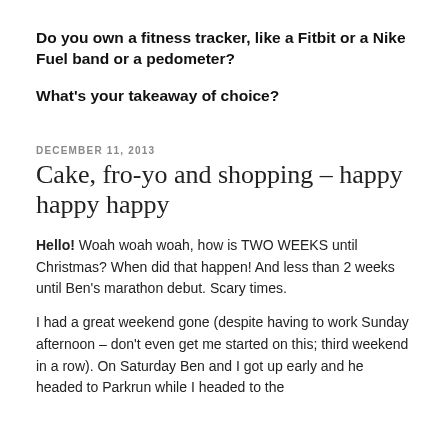Do you own a fitness tracker, like a Fitbit or a Nike Fuel band or a pedometer?
What's your takeaway of choice?
DECEMBER 11, 2013
Cake, fro-yo and shopping – happy happy happy
Hello! Woah woah woah, how is TWO WEEKS until Christmas? When did that happen! And less than 2 weeks until Ben's marathon debut. Scary times.
I had a great weekend gone (despite having to work Sunday afternoon – don't even get me started on this; third weekend in a row). On Saturday Ben and I got up early and he headed to Parkrun while I headed to the